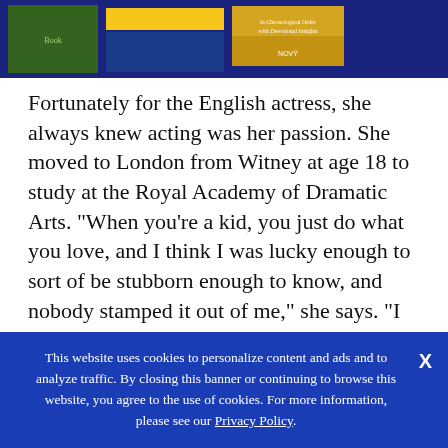[Figure (other): Top banner image showing book covers against a dark blue background. Left: green nature/jungle book cover, center: yellow-titled book cover, right: landscape/sunset book cover with text 'in Chronological Order with Devotional Insights'.]
Fortunately for the English actress, she always knew acting was her passion. She moved to London from Witney at age 18 to study at the Royal Academy of Dramatic Arts. "When you're a kid, you just do what you love, and I think I was lucky enough to sort of be stubborn enough to know, and nobody stamped it out of me," she says. "I was nurtured and encouraged."
This website uses cookies to personalize content and ads and to analyze traffic. By closing this banner or continuing to browse this website, you agree to the use of cookies. For more information, please see our Privacy Policy.